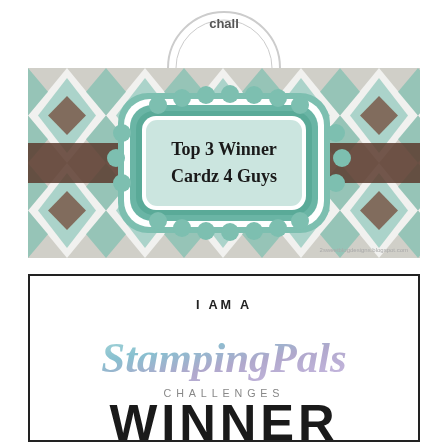[Figure (logo): Partial circular badge/logo with text 'chall...' visible at top, cropped]
[Figure (illustration): Top 3 Winner Cardz 4 Guys badge: argyle diamond pattern background in teal and brown, ornate teal scalloped frame in center with text 'Top 3 Winner Cardz 4 Guys' in black handwritten font, brown horizontal band crossing behind frame]
[Figure (illustration): I Am A StampingPals Challenges Winner badge: white background with black border, 'I AM A' in small black caps, 'StampingPals' in large watercolor teal/blue/purple script, 'CHALLENGES' in spaced gray caps, 'WINNER' in large bold black caps (partially visible)]